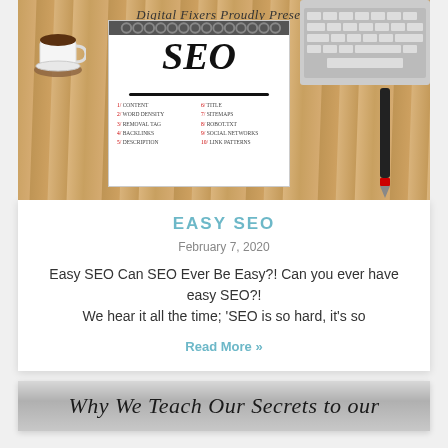[Figure (photo): Hero image of SEO notepad on wooden table with coffee cup, magnifying glass, keyboard and pen. Text 'Digital Fixers Proudly Present' at top. Notepad shows 'SEO' in large italic text with a list of SEO topics.]
Easy SEO
February 7, 2020
Easy SEO Can SEO Ever Be Easy?! Can you ever have easy SEO?! We hear it all the time; 'SEO is so hard, it's so
Read More »
Why We Teach Our Secrets to our